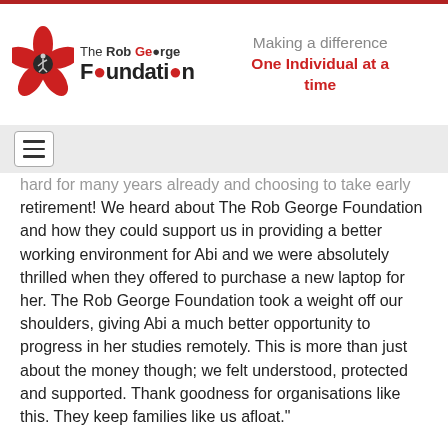The Rob George Foundation — Making a difference One Individual at a time
[Figure (logo): The Rob George Foundation logo: red flower/star shape with a cricketer silhouette, with text 'The Rob George Foundation' including a cricket ball as the dot in the 'o' of Foundation]
hard for many years already and choosing to take early retirement! We heard about The Rob George Foundation and how they could support us in providing a better working environment for Abi and we were absolutely thrilled when they offered to purchase a new laptop for her. The Rob George Foundation took a weight off our shoulders, giving Abi a much better opportunity to progress in her studies remotely. This is more than just about the money though; we felt understood, protected and supported. Thank goodness for organisations like this. They keep families like us afloat."
All of us at the RGF send our heartfelt thanks to Abi, Sam, and their family for sharing their story with us!